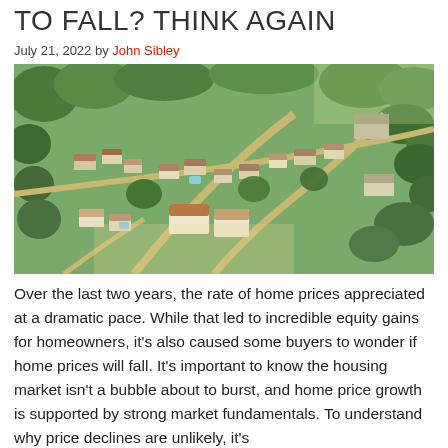TO FALL? THINK AGAIN
July 21, 2022 by John Sibley
[Figure (photo): Aerial view of a suburban neighborhood with houses, streets, trees, and green spaces.]
Over the last two years, the rate of home prices appreciated at a dramatic pace. While that led to incredible equity gains for homeowners, it's also caused some buyers to wonder if home prices will fall. It's important to know the housing market isn't a bubble about to burst, and home price growth is supported by strong market fundamentals. To understand why price declines are unlikely, it's